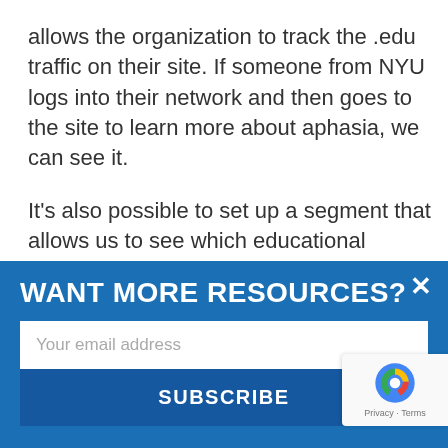allows the organization to track the .edu traffic on their site. If someone from NYU logs into their network and then goes to the site to learn more about aphasia, we can see it.
It's also possible to set up a segment that allows us to see which educational institutions are looking at which content. In this situation, we can view the performance of the pages visited by users from specific
WANT MORE RESOURCES?
Your email address
SUBSCRIBE